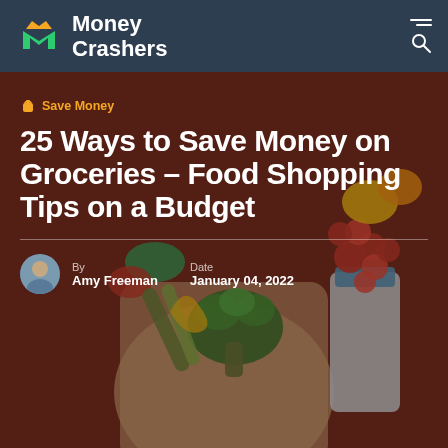Money Crashers
[Figure (photo): Grocery bag filled with fresh vegetables and tomatoes on a dark reddish-brown background, including broccoli, cherry tomatoes, peppers, cucumbers, and a milk carton]
Save Money
25 Ways to Save Money on Groceries – Food Shopping Tips on a Budget
By Amy Freeman
Date January 04, 2022